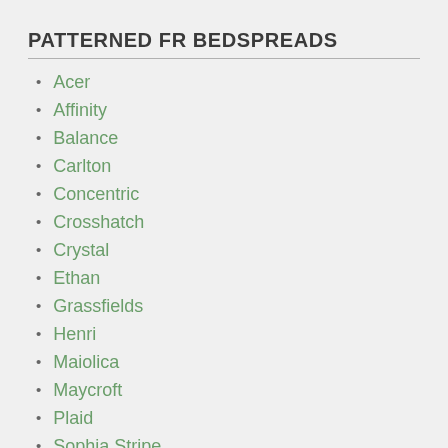PATTERNED FR BEDSPREADS
Acer
Affinity
Balance
Carlton
Concentric
Crosshatch
Crystal
Ethan
Grassfields
Henri
Maiolica
Maycroft
Plaid
Sophia Stripe
Strata